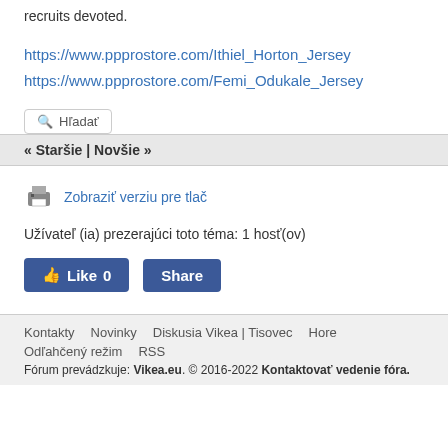recruits devoted.
https://www.ppprostore.com/Ithiel_Horton_Jersey
https://www.ppprostore.com/Femi_Odukale_Jersey
🔍 Hľadať
« Staršie | Novšie »
Zobraziť verziu pre tlač
Užívateľ (ia) prezerajúci toto téma: 1 hosť(ov)
👍 Like 0   Share
Kontakty   Novinky   Diskusia Vikea | Tisovec   Hore   Odľahčený režim   RSS
Fórum prevádzkuje: Vikea.eu. © 2016-2022 Kontaktovať vedenie fóra.